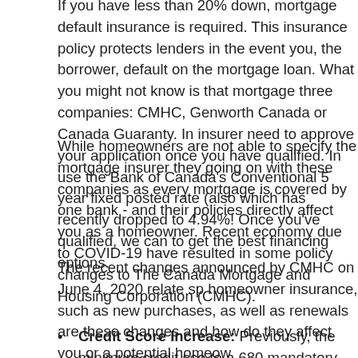If you have less than 20% down, mortgage default insurance is required. This insurance policy protects lenders in the event you, the borrower, default on the mortgage loan. What you might not know is that mortgage default insurance in Canada is offered by only three companies: CMHC, Genworth Canada or Canada Guaranty. In Canada, only the mortgage insurer need to approve your application once you have qualified. In order to qualify, they use the Bank of Canada's Conventional 5 year fixed posted rate (also known as the stress test), which has recently dropped to 4.94%! Once you've qualified, we can shop around to get the best financing options.
While homeowners are not able to specify the mortgage insurer they want, it's important to know what's going on with these companies as every mortgage is covered by one of these insurers - chosen by your bank - and their policies directly affect you as a homeowner. Recent changes to the Canadian economy due to COVID-19 have resulted in some policy changes to one insurer in particular: The Canada Mortgage and Housing Corporation (CMHC).
The recent changes announced by CMHC on June 4, 2020 relate specifically to mortgage homeowner insurance, such as new purchases, as well as renewals and refinancing. So, what are these changes and how do they affect you or a potential homeowner?
Credit Score Increase: Previously, the minimum credit score was 600. This has changed to a 680 mandatory credit score for at least one applicant. This is a considerable jump when the score can only range from 3...